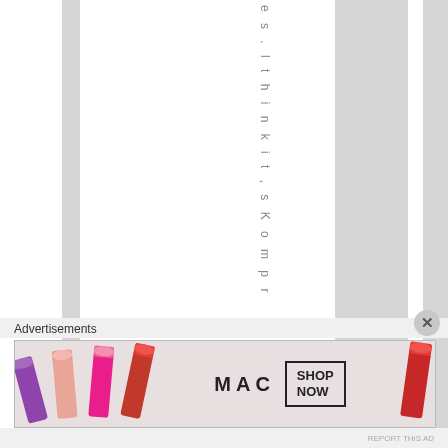[Figure (other): Page with alternating vertical white and gray stripes with vertical text reading 'es. l t h i n k i t, s K o m p r' visible along one column]
Advertisements
[Figure (illustration): MAC cosmetics advertisement banner showing lipsticks in purple, peach, pink and red colors alongside MAC brand logo and SHOP NOW call-to-action box]